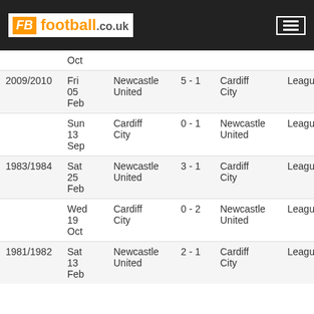FB football.co.uk
| Season | Date | Home | Score | Away | Competition |
| --- | --- | --- | --- | --- | --- |
|  | Oct |  |  |  |  |
| 2009/2010 | Fri 05 Feb | Newcastle United | 5 - 1 | Cardiff City | League |
|  | Sun 13 Sep | Cardiff City | 0 - 1 | Newcastle United | League |
| 1983/1984 | Sat 25 Feb | Newcastle United | 3 - 1 | Cardiff City | League |
|  | Wed 19 Oct | Cardiff City | 0 - 2 | Newcastle United | League |
| 1981/1982 | Sat 13 Feb | Newcastle United | 2 - 1 | Cardiff City | League |